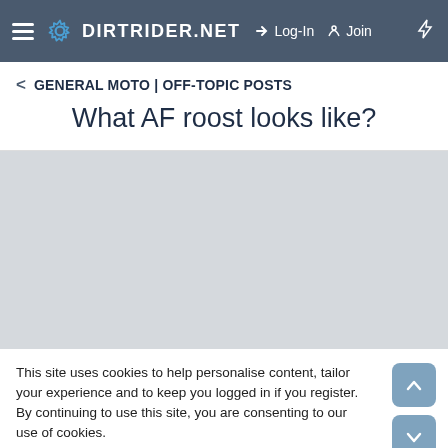DIRTRIDER.NET  →Log-In  🔑Join  ⚡
GENERAL MOTO | OFF-TOPIC POSTS
What AF roost looks like?
[Figure (other): Gray placeholder content area]
This site uses cookies to help personalise content, tailor your experience and to keep you logged in if you register.
By continuing to use this site, you are consenting to our use of cookies.
✓ Accept    Learn more...